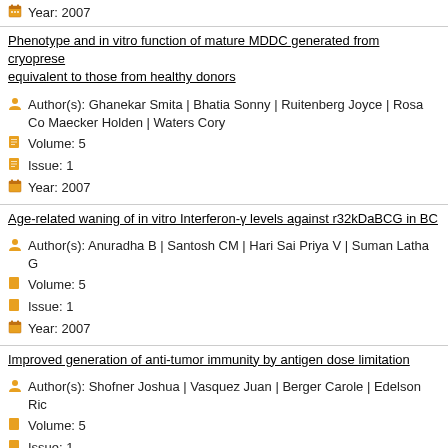Year: 2007
Phenotype and in vitro function of mature MDDC generated from cryoprese equivalent to those from healthy donors
Author(s): Ghanekar Smita | Bhatia Sonny | Ruitenberg Joyce | Rosa Co Maecker Holden | Waters Cory
Volume: 5
Issue: 1
Year: 2007
Age-related waning of in vitro Interferon-γ levels against r32kDaBCG in BC
Author(s): Anuradha B | Santosh CM | Hari Sai Priya V | Suman Latha G
Volume: 5
Issue: 1
Year: 2007
Improved generation of anti-tumor immunity by antigen dose limitation
Author(s): Shofner Joshua | Vasquez Juan | Berger Carole | Edelson Ric
Volume: 5
Issue: 1
Year: 2007
Correction: Phytol-based novel adjuvants in vaccine formulation: 1. assess stimulation of humoral and cell-mediated immune responses
Author(s): Lim So-Yon | Meyer Matt | Kjonaas Richard | Ghosh Swapan
Volume: 5
Issue: 1